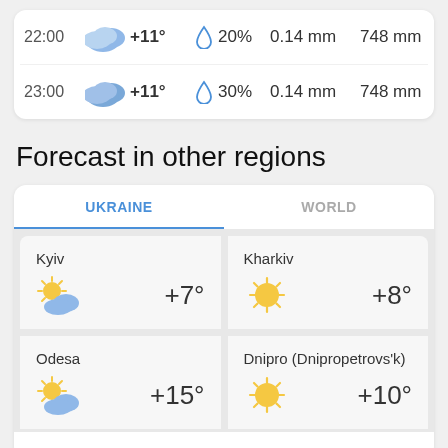| Time | Icon | Temp | Rain Icon | Rain % | Rain mm | Pressure |
| --- | --- | --- | --- | --- | --- | --- |
| 22:00 | clouds | + 11° | drop | 20% | 0.14 mm | 748 mm |
| 23:00 | clouds | + 11° | drop | 30% | 0.14 mm | 748 mm |
Forecast in other regions
| UKRAINE | WORLD |
| --- | --- |
| Kyiv +7° | Kharkiv +8° |
| Odesa +15° | Dnipro (Dnipropetrovs'k) +10° |